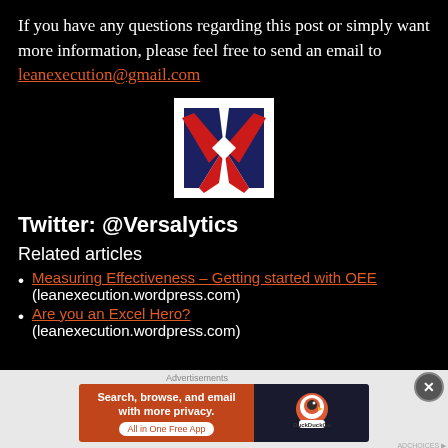If you have any questions regarding this post or simply want more information, please feel free to send an email to leanexecution@gmail.com
[Figure (logo): Versalytics logo — stylized V and X shapes in red and navy blue on white background]
Twitter: @Versalytics
Related articles
Measuring Effectiveness – Getting started with OEE (leanexecution.wordpress.com)
Are you an Excel Hero? (leanexecution.wordpress.com)
[Figure (screenshot): DuckDuckGo advertisement banner: Search, browse, and email with more privacy. All in One Free App]